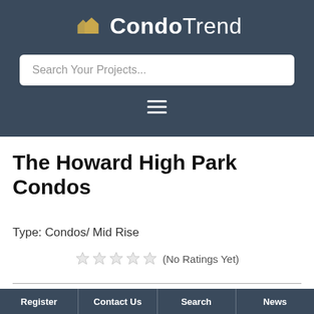[Figure (screenshot): CondoTrend website header with dark navy background, logo with house icon, search bar, and hamburger menu]
The Howard High Park Condos
Type: Condos/ Mid Rise
☆☆☆☆☆ (No Ratings Yet)
Register | Contact Us | Search | News